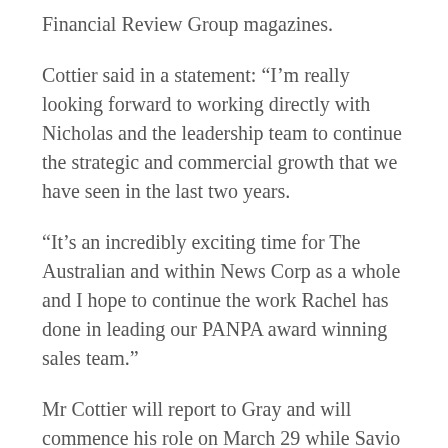Financial Review Group magazines.
Cottier said in a statement: “I’m really looking forward to working directly with Nicholas and the leadership team to continue the strategic and commercial growth that we have seen in the last two years.
“It’s an incredibly exciting time for The Australian and within News Corp as a whole and I hope to continue the work Rachel has done in leading our PANPA award winning sales team.”
Mr Cottier will report to Gray and will commence his role on March 29 while Savio will report to Damian Eales, managing director – metro and regional publishing.